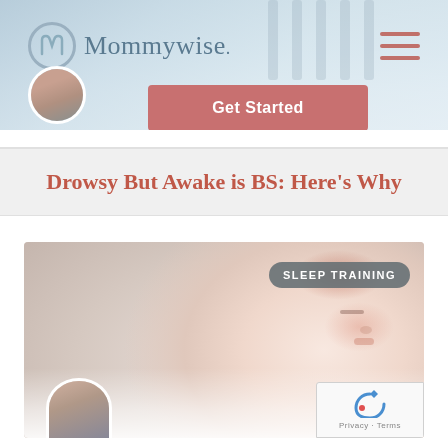Mommywise.
[Figure (screenshot): Get Started button with salmon/rose color]
Drowsy But Awake is BS: Here’s Why
[Figure (photo): Sleeping baby with Sleep Training badge overlay, avatar of author at bottom left, reCAPTCHA widget at bottom right]